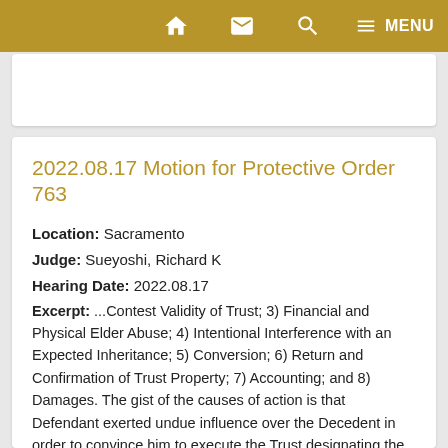Navigation bar with home, email, search, and MENU icons
2022.08.17 Motion for Protective Order 763
Location: Sacramento
Judge: Sueyoshi, Richard K
Hearing Date: 2022.08.17
Excerpt: ...Contest Validity of Trust; 3) Financial and Physical Elder Abuse; 4) Intentional Interference with an Expected Inheritance; 5) Conversion; 6) Return and Confirmation of Trust Property; 7) Accounting; and 8) Damages. The gist of the causes of action is that Defendant exerted undue influence over the Decedent in order to convince him to execute the Trust designating the Defendant as the sole beneficiary